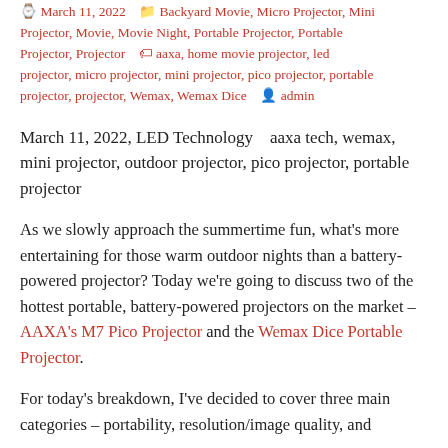March 11, 2022   Backyard Movie, Micro Projector, Mini Projector, Movie, Movie Night, Portable Projector, Portable Projector, Projector   aaxa, home movie projector, led projector, micro projector, mini projector, pico projector, portable projector, projector, Wemax, Wemax Dice   admin
March 11, 2022, LED Technology   aaxa tech, wemax, mini projector, outdoor projector, pico projector, portable projector
As we slowly approach the summertime fun, what’s more entertaining for those warm outdoor nights than a battery-powered projector? Today we’re going to discuss two of the hottest portable, battery-powered projectors on the market – AAXA’s M7 Pico Projector and the Wemax Dice Portable Projector.
For today’s breakdown, I’ve decided to cover three main categories – portability, resolution/image quality, and